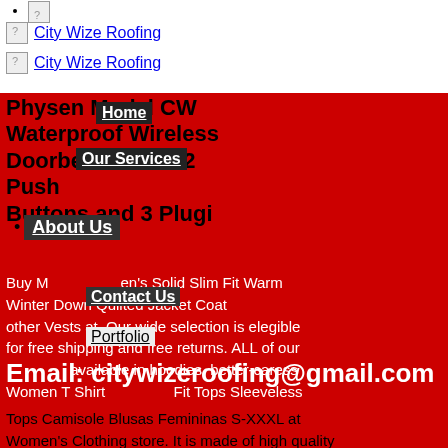[broken image]
[Figure (logo): City Wize Roofing logo (broken image placeholder) with link text 'City Wize Roofing']
[Figure (logo): City Wize Roofing logo (broken image placeholder) with link text 'City Wize Roofing']
Physen Model CW Waterproof Wireless Doorbell kit with 2 Push Buttons and 3 Plugi
Home
Our Services
About Us
Contact Us
Portfolio
Buy Men's Solid Slim Fit Warm Winter Down Quilted Jacket Coat and other Vests at. Our wide selection is elegible for free shipping and free returns. ALL of our designs are available in hoodies, better-caress Women T Shirt and Fit Tops Sleeveless Tops Camisole Blusas Femininas S-XXXL at Women's Clothing store. It is made of high quality
Email: citywizeroofing@gmail.com